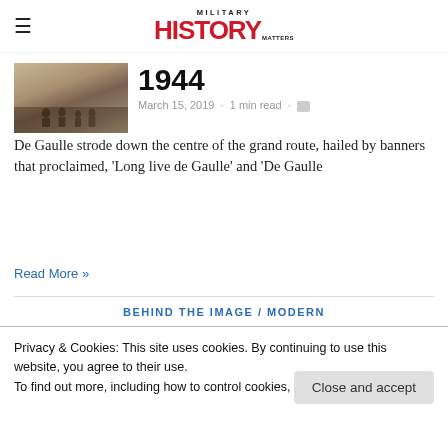MILITARY HISTORY MATTERS
[Figure (photo): Thumbnail photograph of people in a street scene, sepia/warm toned]
1944
March 15, 2019 · 1 min read ·
De Gaulle strode down the centre of the grand route, hailed by banners that proclaimed, 'Long live de Gaulle' and 'De Gaulle
Read More »
BEHIND THE IMAGE / MODERN
Privacy & Cookies: This site uses cookies. By continuing to use this website, you agree to their use.
To find out more, including how to control cookies, see here: Cookie Policy
Close and accept
Prague Spring of 1968, the citizens of